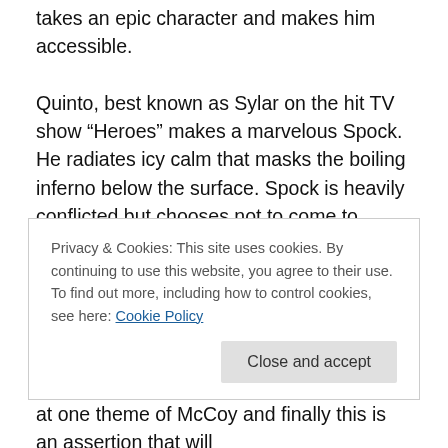takes an epic character and makes him accessible. Quinto, best known as Sylar on the hit TV show “Heroes” makes a marvelous Spock. He radiates icy calm that masks the boiling inferno below the surface. Spock is heavily conflicted but chooses not to come to terms with his conflicting natures; instead he subverts his more human aspects in favor of the Vulcan stoicism. Quinto also has an uncanny resemblance to Nimoy as a young Spock.
Privacy & Cookies: This site uses cookies. By continuing to use this website, you agree to their use.
To find out more, including how to control cookies, see here: Cookie Policy
Close and accept
at one theme of McCoy and finally this is an assertion that will